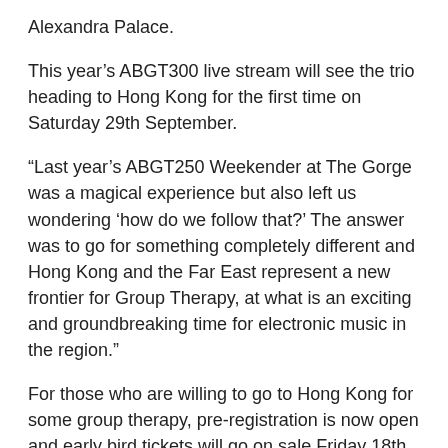Alexandra Palace.
This year's ABGT300 live stream will see the trio heading to Hong Kong for the first time on Saturday 29th September.
“Last year’s ABGT250 Weekender at The Gorge was a magical experience but also left us wondering ‘how do we follow that?’ The answer was to go for something completely different and Hong Kong and the Far East represent a new frontier for Group Therapy, at what is an exciting and groundbreaking time for electronic music in the region.”
For those who are willing to go to Hong Kong for some group therapy, pre-registration is now open and early bird tickets will go on sale Friday 18th May.